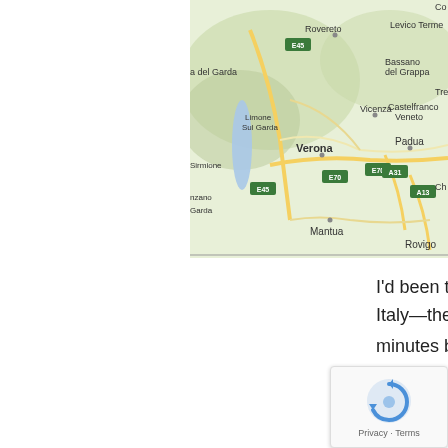[Figure (map): Google Maps view of northern Italy showing cities including Verona, Padua, Mantua, Vicenza, Rovereto, Castelfranco Veneto, Rovigo, Limone Sul Garda, Sirmione, Levico Terme, Bassano del Grappa, and road routes E45, E70, A31, A13.]
I'd been to Munich many times before, but everywh everything about northern Italy—the scenery, the h cultures, the food, the wine, and even the fact that minutes behind schedule. 🙂
Second, let's talk about gear.
I don't usually talk much about clothes want to call them out: